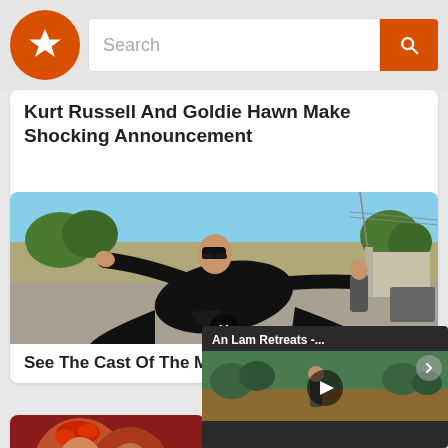[Figure (screenshot): App navigation bar with orange star logo, search text field, and orange search button]
Kurt Russell And Goldie Hawn Make Shocking Announcement
[Figure (photo): Scene from The Matrix movie showing a figure in a black coat leaning back dramatically on a rooftop]
See The Cast Of The Matrix Then & Now
[Figure (screenshot): Video player overlay showing 'An Lam Retreats -...' with play button]
[Figure (photo): Bottom left thumbnail showing people]